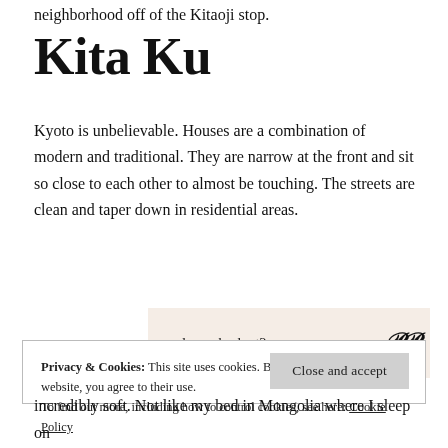neighborhood off of the Kitaoji stop.
Kita Ku
Kyoto is unbelievable. Houses are a combination of modern and traditional. They are narrow at the front and sit so close to each other to almost be touching. The streets are clean and taper down in residential areas.
[Figure (other): Advertisement banner with text 'and on a budget?' and a logo on a beige background, with 'REPORT THIS AD' label below]
Privacy & Cookies: This site uses cookies. By continuing to use this website, you agree to their use.
To find out more, including how to control cookies, see here: Cookie Policy
Close and accept
incredibly soft. Not like my bed in Mongolia where I sleep on